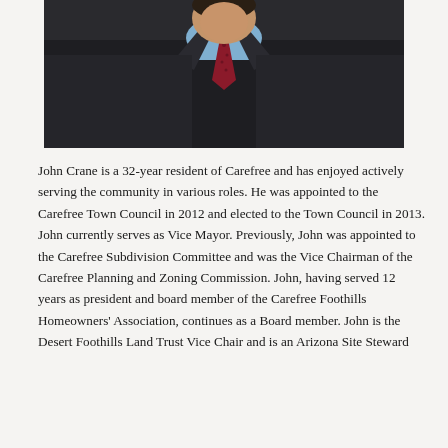[Figure (photo): Portrait photo of a man in a dark suit with a red patterned tie and light blue shirt, photographed from chest up against a dark background.]
John Crane is a 32-year resident of Carefree and has enjoyed actively serving the community in various roles. He was appointed to the Carefree Town Council in 2012 and elected to the Town Council in 2013. John currently serves as Vice Mayor. Previously, John was appointed to the Carefree Subdivision Committee and was the Vice Chairman of the Carefree Planning and Zoning Commission. John, having served 12 years as president and board member of the Carefree Foothills Homeowners' Association, continues as a Board member. John is the Desert Foothills Land Trust Vice Chair and is an Arizona Site Steward